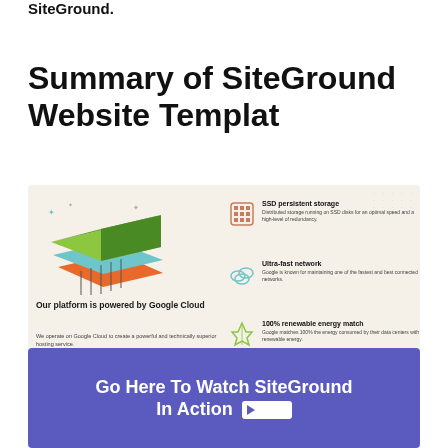SiteGround.
Summary of SiteGround Website Templat
[Figure (screenshot): Screenshot of SiteGround website showing Google Cloud platform features: SSD persistent storage, Ultra-fast network, 100% renewable energy match, with a stacked layers illustration and LEARN MORE button.]
Go Here To Watch SiteGround In Action ▶